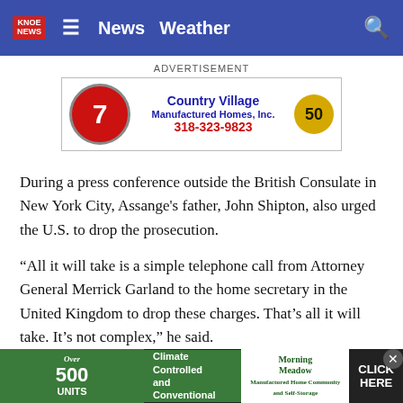KNOE News | News  Weather
[Figure (screenshot): Country Village Manufactured Homes advertisement with red badge showing 7, blue text, phone number 318-323-9823, and gold 50th anniversary seal]
During a press conference outside the British Consulate in New York City, Assange's father, John Shipton, also urged the U.S. to drop the prosecution.
“All it will take is a simple telephone call from Attorney General Merrick Garland to the home secretary in the United Kingdom to drop these charges. That’s all it will take. It’s not complex,” he said.
Assange’s supporters and lawyers maintain he was acting as a journalist and is entitled to First Amendment protections. The case is...
[Figure (screenshot): Morning Meadow Manufactured Home Community advertisement with Over 500 Units, Climate Controlled and Conventional, CLICK HERE button]